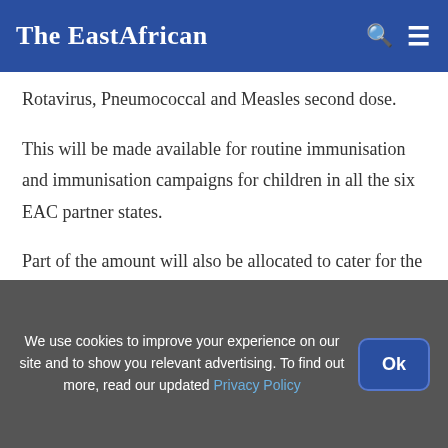The EastAfrican
Rotavirus, Pneumococcal and Measles second dose.
This will be made available for routine immunisation and immunisation campaigns for children in all the six EAC partner states.
Part of the amount will also be allocated to cater for the Integrated Water Resource Management
We use cookies to improve your experience on our site and to show you relevant advertising. To find out more, read our updated Privacy Policy